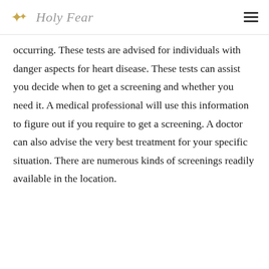Holy Fear
occurring. These tests are advised for individuals with danger aspects for heart disease. These tests can assist you decide when to get a screening and whether you need it. A medical professional will use this information to figure out if you require to get a screening. A doctor can also advise the very best treatment for your specific situation. There are numerous kinds of screenings readily available in the location.